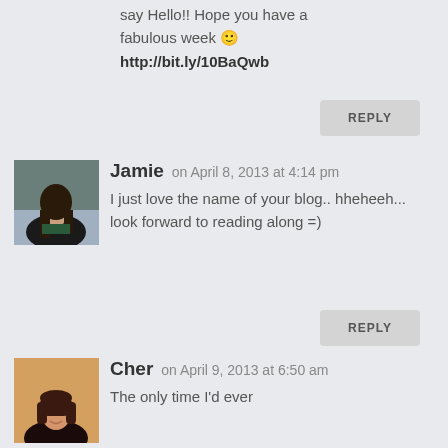say Hello!! Hope you have a fabulous week 🙂
http://bit.ly/10BaQwb
REPLY
[Figure (photo): Avatar photo of Jamie, a young woman with long dark hair, sitting outdoors]
Jamie on April 8, 2013 at 4:14 pm
I just love the name of your blog.. hheheeh... look forward to reading along =)
REPLY
[Figure (photo): Avatar photo of Cher, a woman with short dark hair, smiling]
Cher on April 9, 2013 at 6:50 am
The only time I'd ever